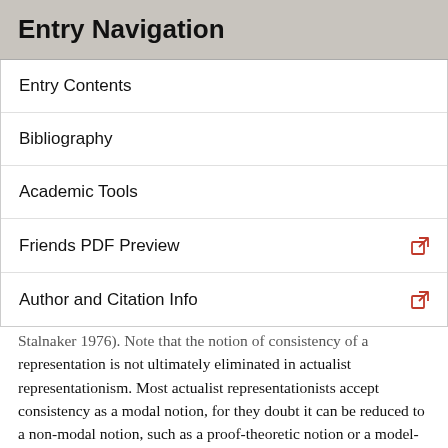Entry Navigation
Entry Contents
Bibliography
Academic Tools
Friends PDF Preview
Author and Citation Info
Stalnaker 1976). Note that the notion of consistency of a representation is not ultimately eliminated in actualist representationism. Most actualist representationists accept consistency as a modal notion, for they doubt it can be reduced to a non-modal notion, such as a proof-theoretic notion or a model-theoretic notion. If those actualist representationists are right and consistency is indeed a modal notion, then actualist representationism is not a reductionist theory of modality. This, however, should not automatically be taken to be a serious challenge to actualist representationism, for a thoroughly reductionist theory of modality may or may not be feasible. Not even